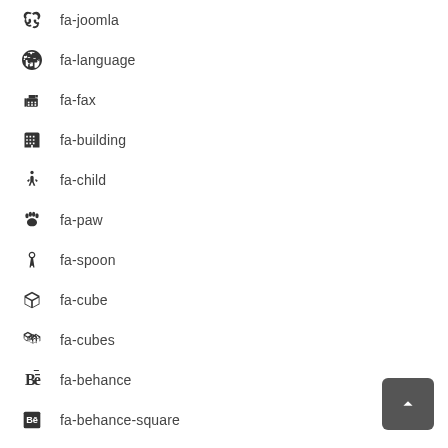fa-joomla
fa-language
fa-fax
fa-building
fa-child
fa-paw
fa-spoon
fa-cube
fa-cubes
fa-behance
fa-behance-square
fa-steam
fa-steam-square
fa-recycle